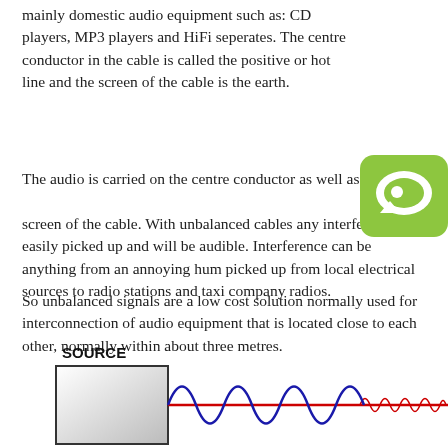mainly domestic audio equipment such as: CD players, MP3 players and HiFi seperates. The centre conductor in the cable is called the positive or hot line and the screen of the cable is the earth.
The audio is carried on the centre conductor as well as the screen of the cable. With unbalanced cables any interference is easily picked up and will be audible. Interference can be anything from an annoying hum picked up from local electrical sources to radio stations and taxi company radios.
So unbalanced signals are a low cost solution normally used for interconnection of audio equipment that is located close to each other, normally within about three metres.
[Figure (schematic): Diagram showing a SOURCE box with a sine wave (blue) and a straight line (red) extending to the right, with noise indicated on the red line at the far right. Labeled SOURCE above a rectangle.]